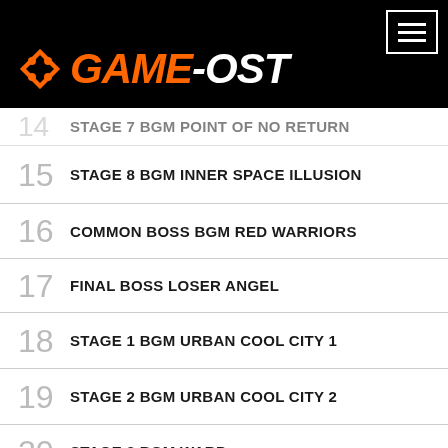GAME-OST
14 STAGE 7 BGM POINT OF NO RETURN
15 STAGE 8 BGM INNER SPACE ILLUSION
16 COMMON BOSS BGM RED WARRIORS
17 FINAL BOSS LOSER ANGEL
18 STAGE 1 BGM URBAN COOL CITY 1
19 STAGE 2 BGM URBAN COOL CITY 2
20 STAGE 3 BGM WARP
21 STAGE 4 BGM ENDLESS SHOOTING